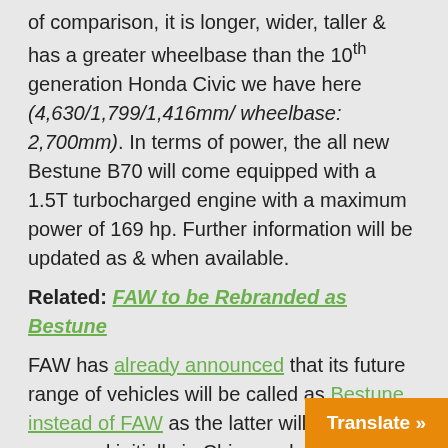of comparison, it is longer, wider, taller & has a greater wheelbase than the 10th generation Honda Civic we have here (4,630/1,799/1,416mm/ wheelbase: 2,700mm). In terms of power, the all new Bestune B70 will come equipped with a 1.5T turbocharged engine with a maximum power of 169 hp. Further information will be updated as & when available.
Related: FAW to be Rebranded as Bestune
FAW has already announced that its future range of vehicles will be called as Bestune instead of FAW as the latter will be scrapped initially in China and gradually in other markets. Of late, the Bestune brand has accelerated the pace of new car launches with new B70 with its sportier perso...